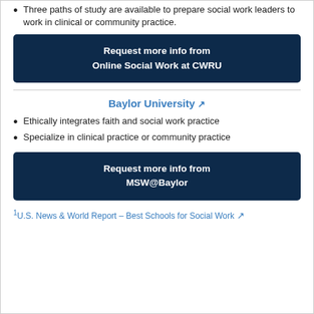Three paths of study are available to prepare social work leaders to work in clinical or community practice.
Request more info from Online Social Work at CWRU
Baylor University
Ethically integrates faith and social work practice
Specialize in clinical practice or community practice
Request more info from MSW@Baylor
1U.S. News & World Report – Best Schools for Social Work